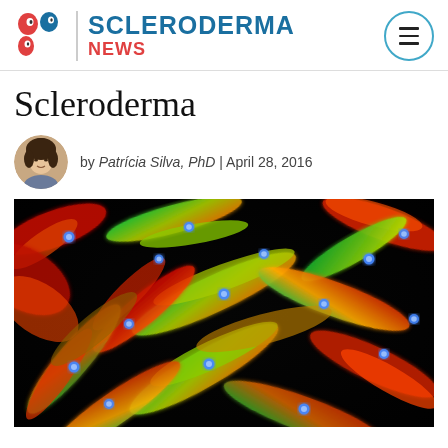SCLERODERMA NEWS
Scleroderma
by Patrícia Silva, PhD | April 28, 2016
[Figure (photo): Fluorescence microscopy image of cells stained with multiple fluorescent dyes showing elongated fibroblast-like cells with red, green, yellow filaments and blue nuclei against a black background.]